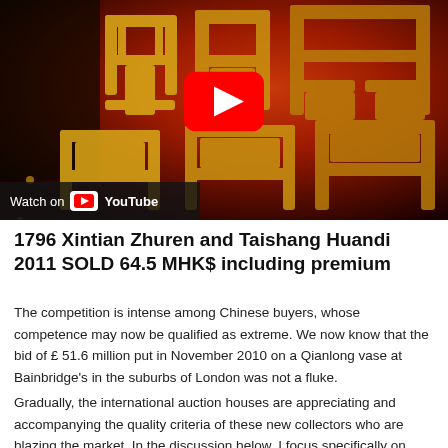[Figure (screenshot): YouTube video thumbnail showing Chinese seal characters in red and gold tones, with a YouTube play button overlay in the center and a 'Watch on YouTube' badge at the bottom left.]
1796 Xintian Zhuren and Taishang Huandi 2011 SOLD 64.5 MHK$ including premium
The competition is intense among Chinese buyers, whose competence may now be qualified as extreme. We now know that the bid of £ 51.6 million put in November 2010 on a Qianlong vase at Bainbridge's in the suburbs of London was not a fluke.
Gradually, the international auction houses are appreciating and accompanying the quality criteria of these new collectors who are blazing the market. In the discussion below, I focus specifically on